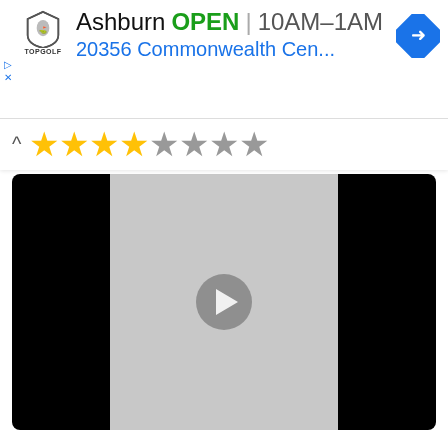[Figure (screenshot): Ad banner for Topgolf Ashburn showing logo, OPEN status, hours 10AM-1AM, address 20356 Commonwealth Cen..., navigation icon, and ad controls]
[Figure (screenshot): Star rating row showing 4 filled gold stars and 4 empty gray stars with upward chevron]
[Figure (screenshot): Video player with black background and gray center panel with play button]
|  |  |
| --- | --- |
| Mark | imdb: 6.6 |
| Genre | comedy, melodrama, drama |
| Country | Russia |